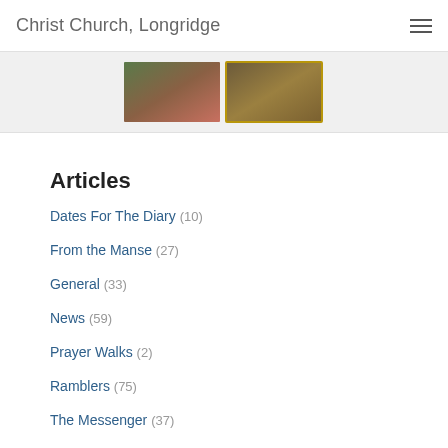Christ Church, Longridge
[Figure (photo): Two small thumbnail photos: a Christmas tree decoration on the left and a church interior/exterior on the right]
Articles
Dates For The Diary (10)
From the Manse (27)
General (33)
News (59)
Prayer Walks (2)
Ramblers (75)
The Messenger (37)